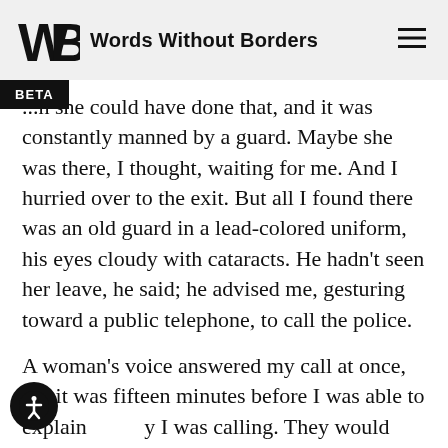Words Without Borders
...h she could have done that, and it was constantly manned by a guard. Maybe she was there, I thought, waiting for me. And I hurried over to the exit. But all I found there was an old guard in a lead-colored uniform, his eyes cloudy with cataracts. He hadn't seen her leave, he said; he advised me, gesturing toward a public telephone, to call the police.
A woman's voice answered my call at once, but it was fifteen minutes before I was able to explain why I was calling. They would send over a patrol, they assured me.